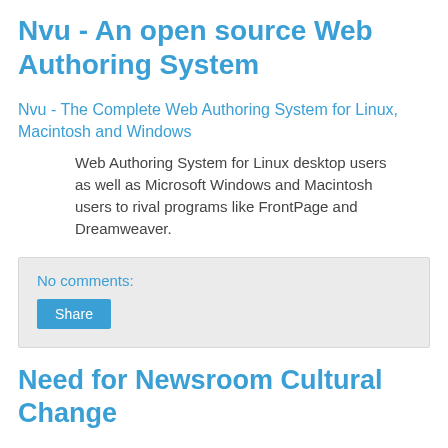Nvu - An open source Web Authoring System
Nvu - The Complete Web Authoring System for Linux, Macintosh and Windows
Web Authoring System for Linux desktop users as well as Microsoft Windows and Macintosh users to rival programs like FrontPage and Dreamweaver.
No comments:
Share
Need for Newsroom Cultural Change